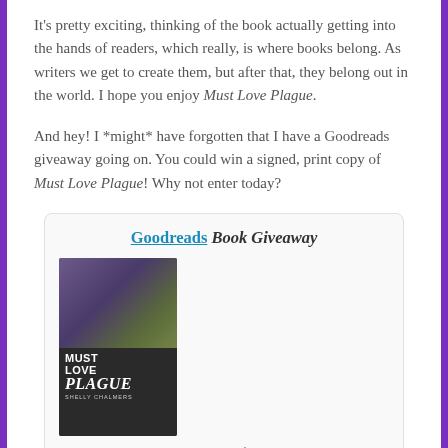It's pretty exciting, thinking of the book actually getting into the hands of readers, which really, is where books belong. As writers we get to create them, but after that, they belong out in the world. I hope you enjoy Must Love Plague.
And hey! I *might* have forgotten that I have a Goodreads giveaway going on. You could win a signed, print copy of Must Love Plague! Why not enter today?
[Figure (illustration): Goodreads Book Giveaway card featuring the book cover of 'Must Love Plague' by Shelly Chalmers, with a link titled 'Goodreads Book Giveaway' and the book cover image showing a person in purple pants and green shoes with greenery, and the book title and author name.]
Must Love Plague